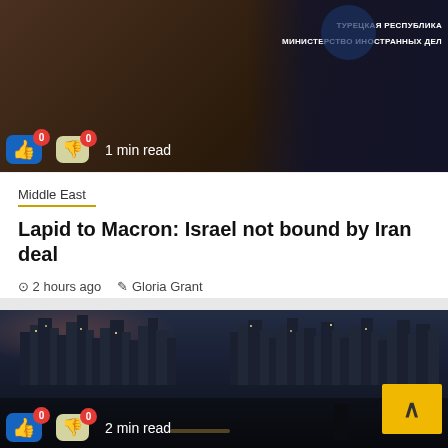[Figure (photo): Top photo showing a podium with Turkish emblem and Russian text 'ТУРЕЦКАЯ РЕСПУБЛИКА МИНИСТЕРСТВО ИНОСТРАННЫХ ДЕЛ' in background, with like/dislike buttons showing 0 each and '1 min read' label]
Middle East
Lapid to Macron: Israel not bound by Iran deal
2 hours ago   Gloria Grant
[Figure (photo): Bottom photo of a city skyline at dusk with water in foreground and a person standing, with like/dislike buttons showing 0 each, '2 min read' label, and a yellow scroll-to-top button]